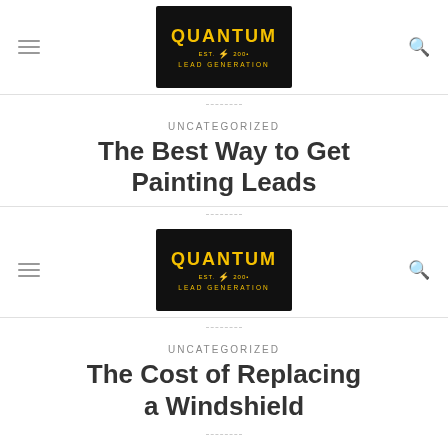[Figure (logo): Quantum Lead Generation logo - yellow text on black background with lightning bolt]
UNCATEGORIZED
The Best Way to Get Painting Leads
[Figure (logo): Quantum Lead Generation logo - yellow text on black background with lightning bolt]
UNCATEGORIZED
The Cost of Replacing a Windshield